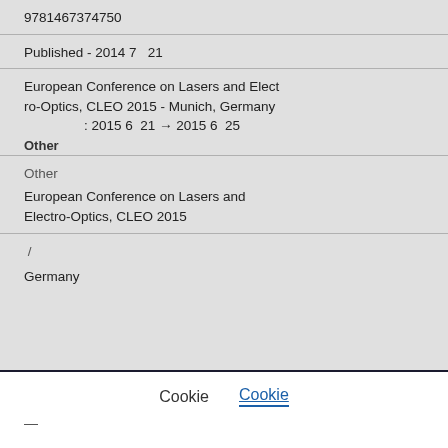9781467374750
Published - 2014 7  21
European Conference on Lasers and Electro-Optics, CLEO 2015 - Munich, Germany : 2015 6  21 → 2015 6  25
Other
Other
European Conference on Lasers and Electro-Optics, CLEO 2015
/
Germany
Cookie
Cookie
—